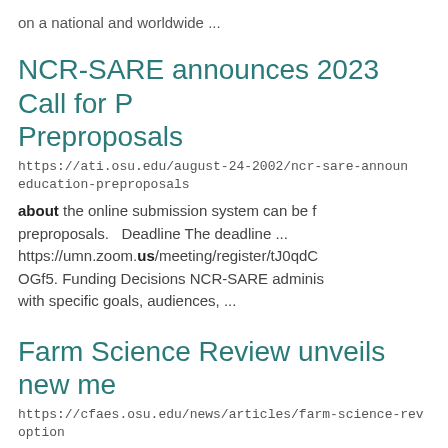on a national and worldwide ...
NCR-SARE announces 2023 Call for Preproposals
https://ati.osu.edu/august-24-2002/ncr-sare-announ-education-preproposals
about the online submission system can be f... preproposals.   Deadline The deadline ... https://umn.zoom.us/meeting/register/tJ0qdC OGf5. Funding Decisions NCR-SARE adminis... with specific goals, audiences, ...
Farm Science Review unveils new me
https://cfaes.osu.edu/news/articles/farm-science-rev-option